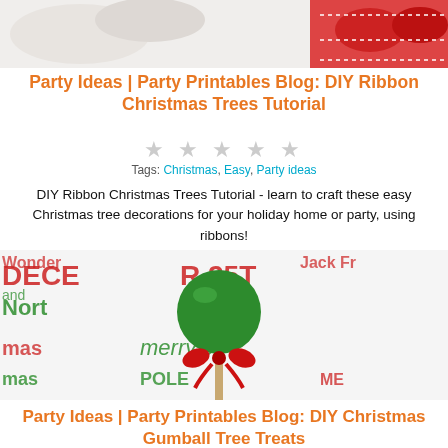[Figure (photo): Photo of DIY ribbon Christmas trees - white trees with red ribbon decoration on light background]
Party Ideas | Party Printables Blog: DIY Ribbon Christmas Trees Tutorial
[Figure (other): Five empty star rating icons in light gray]
Tags: Christmas, Easy, Party ideas
DIY Ribbon Christmas Trees Tutorial - learn to craft these easy Christmas tree decorations for your holiday home or party, using ribbons!
[Figure (photo): Photo of a green gumball on a stick decorated with a red ribbon bow, set against Christmas typography background with text including DECEMBER 25TH, North Pole, merry christmas]
Party Ideas | Party Printables Blog: DIY Christmas Gumball Tree Treats